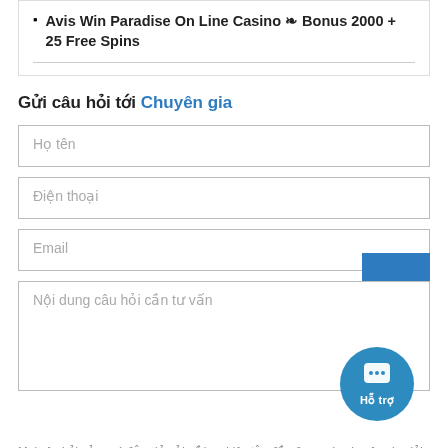Avis Win Paradise On Line Casino ❧ Bonus 2000 + 25 Free Spins
Gửi câu hỏi tới Chuyên gia
[Figure (other): Web form with input fields: Họ tên, Điện thoại, Email (with blue button overlay), Nội dung câu hỏi cần tư vấn (textarea), and a circular blue chat support button labeled Hỗ trợ]
Mọi câu hỏi của quý độc giả gửi về ban biên tập đều được các chuyên gia giải đáp trong 24h.